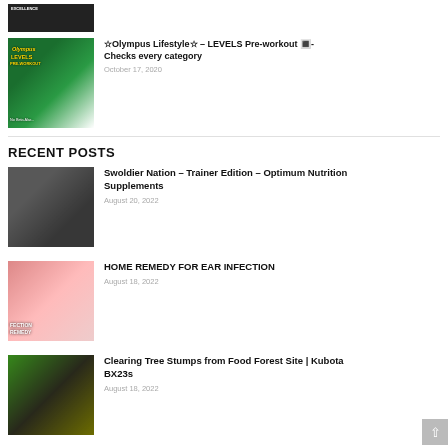[Figure (screenshot): Thumbnail image of a fitness/exercise related video, dark background]
[Figure (photo): Thumbnail image of Olympus Lifestyle LEVELS Pre-workout product]
☆Olympus Lifestyle☆ – LEVELS Pre-workout 🔳- Checks every category
October 17, 2020
RECENT POSTS
[Figure (photo): Thumbnail image of Swoldier Nation Trainer Edition Optimum Nutrition supplements]
Swoldier Nation – Trainer Edition – Optimum Nutrition Supplements
August 20, 2022
[Figure (photo): Thumbnail image showing an ear with text FECTION REMEDY]
HOME REMEDY FOR EAR INFECTION
August 18, 2022
[Figure (photo): Thumbnail image of Kubota BX23s clearing tree stumps from food forest]
Clearing Tree Stumps from Food Forest Site | Kubota BX23s
August 18, 2022